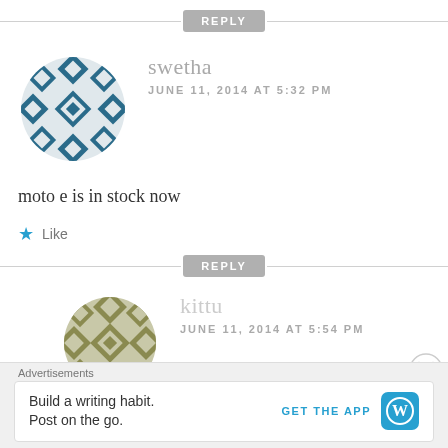REPLY
swetha
JUNE 11, 2014 AT 5:32 PM
moto e is in stock now
Like
REPLY
kittu
JUNE 11, 2014 AT 5:54 PM
Advertisements
Build a writing habit.
Post on the go.
GET THE APP